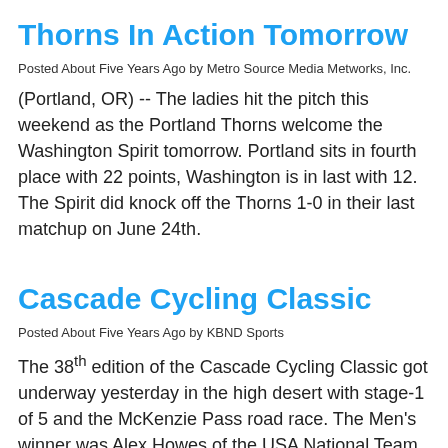Thorns In Action Tomorrow
Posted About Five Years Ago by Metro Source Media Metworks, Inc.
(Portland, OR)  --  The ladies hit the pitch this weekend as the Portland Thorns welcome the Washington Spirit tomorrow.  Portland sits in fourth place with 22 points, Washington is in last with 12.  The Spirit did knock off the Thorns 1-0 in their last matchup on June 24th.
Cascade Cycling Classic
Posted About Five Years Ago by KBND Sports
The 38th edition of the Cascade Cycling Classic got underway yesterday in the high desert with stage-1 of 5 and the McKenzie Pass road race. The Men's winner was Alex Howes of the USA National Team, and Kristy